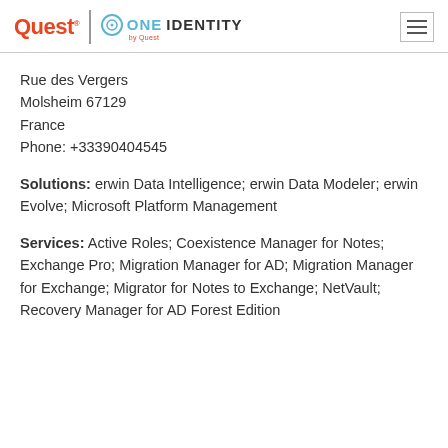Quest | ONE IDENTITY by Quest
Rue des Vergers
Molsheim 67129
France
Phone: +33390404545
Solutions: erwin Data Intelligence; erwin Data Modeler; erwin Evolve; Microsoft Platform Management
Services: Active Roles; Coexistence Manager for Notes; Exchange Pro; Migration Manager for AD; Migration Manager for Exchange; Migrator for Notes to Exchange; NetVault; Recovery Manager for AD Forest Edition